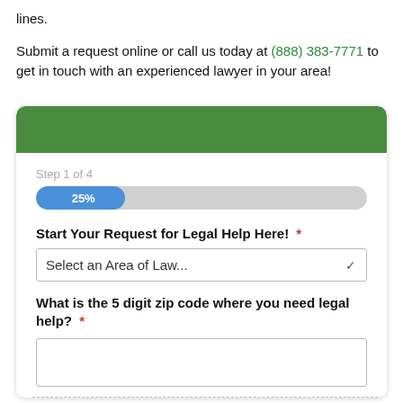lines.
Submit a request online or call us today at (888) 383-7771 to get in touch with an experienced lawyer in your area!
[Figure (screenshot): A legal help request form card with a green header, Step 1 of 4 label, a blue progress bar showing 25%, a dropdown for 'Select an Area of Law...', a bold question 'Start Your Request for Legal Help Here!' with a required asterisk, a bold question 'What is the 5 digit zip code where you need legal help?' with a required asterisk, and an empty text input field.]